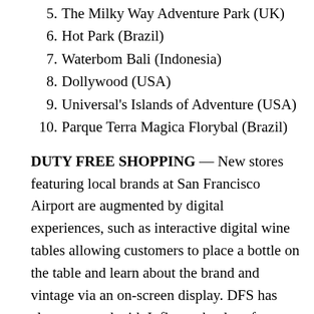5. The Milky Way Adventure Park (UK)
6. Hot Park (Brazil)
7. Waterbom Bali (Indonesia)
8. Dollywood (USA)
9. Universal's Islands of Adventure (USA)
10. Parque Terra Magica Florybal (Brazil)
DUTY FREE SHOPPING — New stores featuring local brands at San Francisco Airport are augmented by digital experiences, such as interactive digital wine tables allowing customers to place a bottle on the table and learn about the brand and vintage via an on-screen display. DFS has also partnered with Inflyter, the duty-free shopping app, enabling travelers to browse